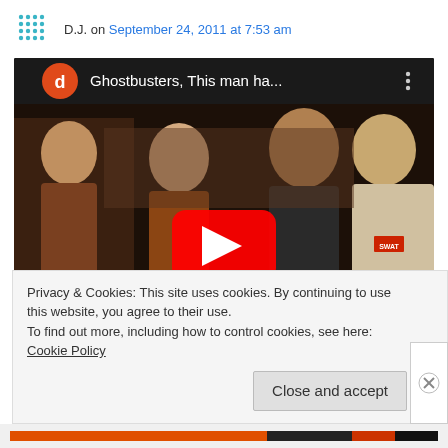D.J. on September 24, 2011 at 7:53 am
[Figure (screenshot): YouTube video thumbnail showing Ghostbusters scene with play button overlay and title 'Ghostbusters, This man ha...' with channel avatar 'd' in orange circle]
↳ Reply
Privacy & Cookies: This site uses cookies. By continuing to use this website, you agree to their use.
To find out more, including how to control cookies, see here: Cookie Policy
Close and accept